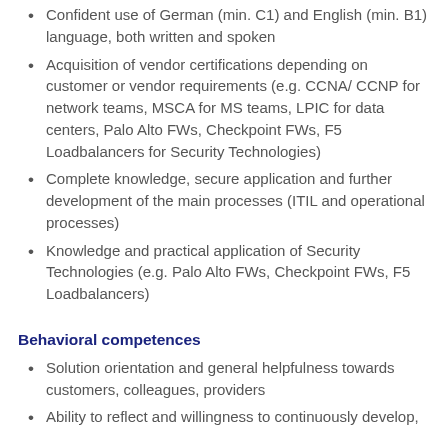Confident use of German (min. C1) and English (min. B1) language, both written and spoken
Acquisition of vendor certifications depending on customer or vendor requirements (e.g. CCNA/ CCNP for network teams, MSCA for MS teams, LPIC for data centers, Palo Alto FWs, Checkpoint FWs, F5 Loadbalancers for Security Technologies)
Complete knowledge, secure application and further development of the main processes (ITIL and operational processes)
Knowledge and practical application of Security Technologies (e.g. Palo Alto FWs, Checkpoint FWs, F5 Loadbalancers)
Behavioral competences
Solution orientation and general helpfulness towards customers, colleagues, providers
Ability to reflect and willingness to continuously develop,